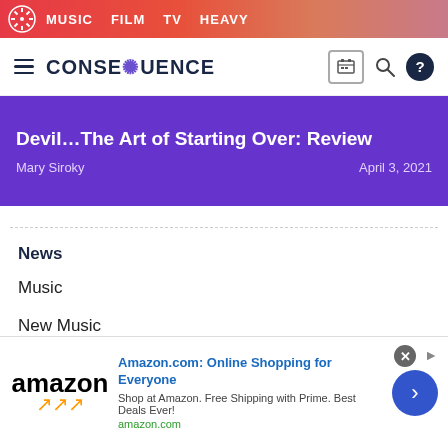MUSIC  FILM  TV  HEAVY
[Figure (logo): Consequence of Sound logo with hamburger menu, site name CONSEQUENCE, and icons for tickets, search, help]
Devil...The Art of Starting Over: Review
Mary Siroky    April 3, 2021
News
Music
New Music
Album Streams
Upcoming Releases
[Figure (screenshot): Amazon advertisement banner: Amazon.com: Online Shopping for Everyone. Shop at Amazon. Free Shipping with Prime. Best Deals Ever! amazon.com]